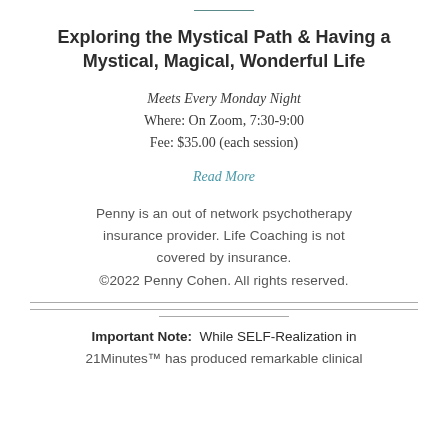Exploring the Mystical Path & Having a Mystical, Magical, Wonderful Life
Meets Every Monday Night
Where: On Zoom, 7:30-9:00
Fee: $35.00 (each session)
Read More
Penny is an out of network psychotherapy insurance provider. Life Coaching is not covered by insurance.
©2022 Penny Cohen. All rights reserved.
Important Note: While SELF-Realization in 21Minutes™ has produced remarkable clinical